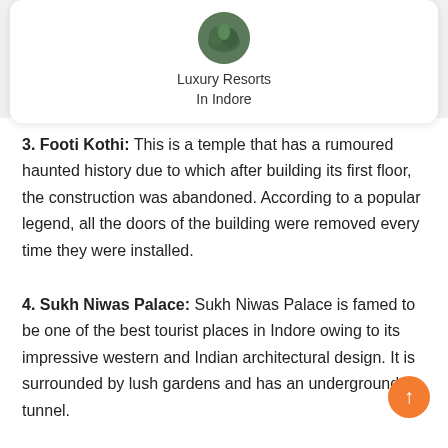Luxury Resorts
In Indore
3. Footi Kothi: This is a temple that has a rumoured haunted history due to which after building its first floor, the construction was abandoned. According to a popular legend, all the doors of the building were removed every time they were installed.
4. Sukh Niwas Palace: Sukh Niwas Palace is famed to be one of the best tourist places in Indore owing to its impressive western and Indian architectural design. It is surrounded by lush gardens and has an underground tunnel.